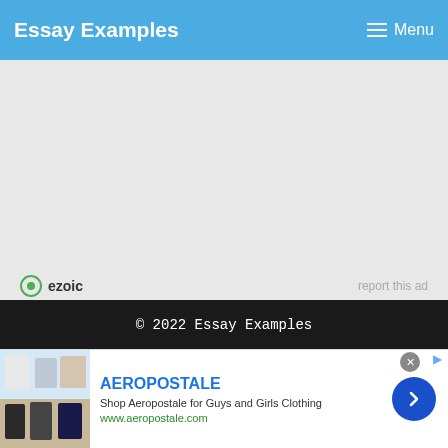Essay Examples   Menu
[Figure (other): Gray advertisement placeholder area with Ezoic branding and 'report this ad' link]
© 2022 Essay Examples
[Figure (other): Aeropostale advertisement banner with clothing images, brand name, description 'Shop Aeropostale for Guys and Girls Clothing', URL www.aeropostale.com, and a blue arrow button]